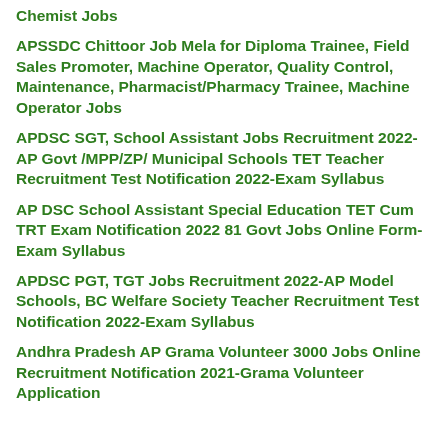Chemist Jobs
APSSDC Chittoor Job Mela for Diploma Trainee, Field Sales Promoter, Machine Operator, Quality Control, Maintenance, Pharmacist/Pharmacy Trainee, Machine Operator Jobs
APDSC SGT, School Assistant Jobs Recruitment 2022-AP Govt /MPP/ZP/ Municipal Schools TET Teacher Recruitment Test Notification 2022-Exam Syllabus
AP DSC School Assistant Special Education TET Cum TRT Exam Notification 2022 81 Govt Jobs Online Form-Exam Syllabus
APDSC PGT, TGT Jobs Recruitment 2022-AP Model Schools, BC Welfare Society Teacher Recruitment Test Notification 2022-Exam Syllabus
Andhra Pradesh AP Grama Volunteer 3000 Jobs Online Recruitment Notification 2021-Grama Volunteer Application